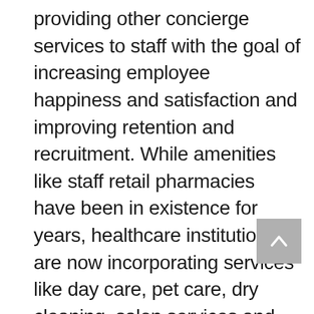providing other concierge services to staff with the goal of increasing employee happiness and satisfaction and improving retention and recruitment. While amenities like staff retail pharmacies have been in existence for years, healthcare institutions are now incorporating services like day care, pet care, dry cleaning, salon services and made-to-order food to take home after a shift. America’s nursing crisis is complex, and the staffing shortage may seem dire, especially amid the Omicron surge and the continued exhaustion felt by nurses and healthcare workers alike. Design solutions, technology and services
[Figure (other): Back to top button: grey square with white upward-pointing chevron arrow]